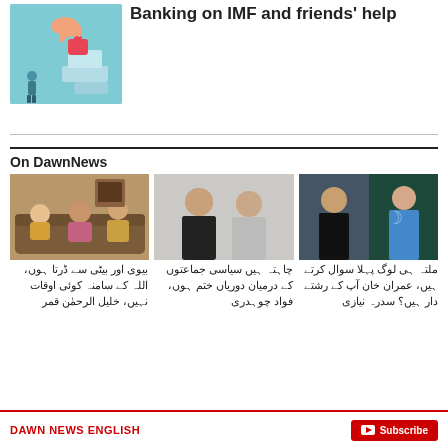Banking on IMF and friends' help
[Figure (illustration): Illustration of a hand placing a red puzzle piece onto stacked blocks, with a small human figure standing nearby on a teal/blue background]
On DawnNews
[Figure (photo): TV screenshot showing three people seated on a sofa in a talk show setting]
[Figure (photo): Two men speaking at a press conference or interview setting]
[Figure (photo): Man in black suit on left, woman in casual outfit on right, against Pakistan flag backdrop]
بیوی اور بیٹی سے ڈرتا ہوں، اللہ کے سامنہ کوئی اوقات نہیں، خلیل الرحمٰن قمر
چاہتہ ہیں سیاسی جماعتوں کے درمیان دوریاں ختم ہوں، فواد چوہدری
ملتہ ہی لوگ پہلا سوال کرتے ہیں، عمران خان آپ کے رشتے دار ہیں؟ سدرہ نیازی
DAWN NEWS ENGLISH   Subscribe